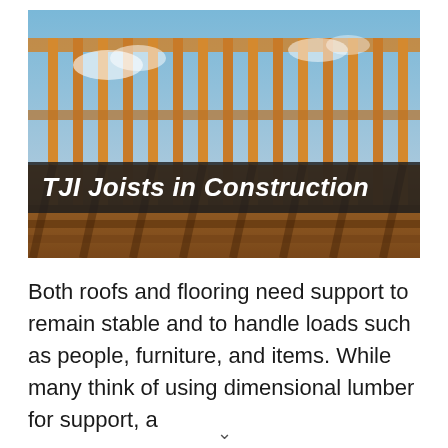[Figure (photo): Photo of a wooden building frame under construction with vertical lumber studs against a blue sky, showing the skeletal structure of a house or building.]
TJI Joists in Construction
Both roofs and flooring need support to remain stable and to handle loads such as people, furniture, and items. While many think of using dimensional lumber for support, a